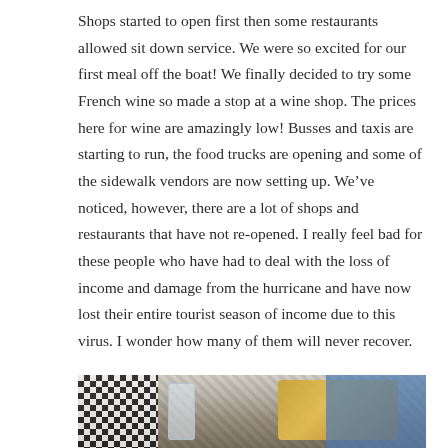Shops started to open first then some restaurants allowed sit down service.  We were so excited for our first meal off the boat!  We finally decided to try some French wine so made a stop at a wine shop.  The prices here for wine are amazingly low!  Busses and taxis are starting to run, the food trucks are opening and some of the sidewalk vendors are now setting up.  We've noticed, however, there are a lot of shops and restaurants that have not re-opened.  I really feel bad for these people who have had to deal with the loss of income and damage from the hurricane and have now lost their entire tourist season of income due to this virus.  I wonder how many of them will never recover.
[Figure (photo): Photo of a meal at a restaurant showing French fries in a metal cup/container and a burger on a plate, with a checkered bag on the left side and a person in a blue shirt visible in the background.]